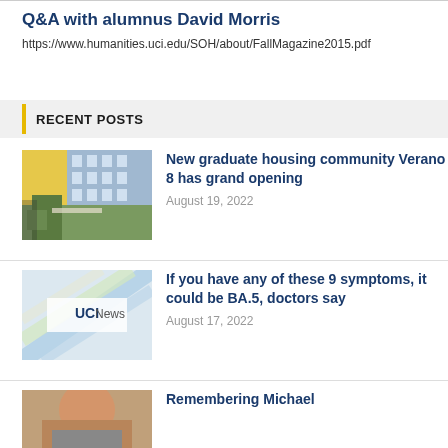Q&A with alumnus David Morris
https://www.humanities.uci.edu/SOH/about/FallMagazine2015.pdf
RECENT POSTS
New graduate housing community Verano 8 has grand opening
August 19, 2022
If you have any of these 9 symptoms, it could be BA.5, doctors say
August 17, 2022
Remembering Michael